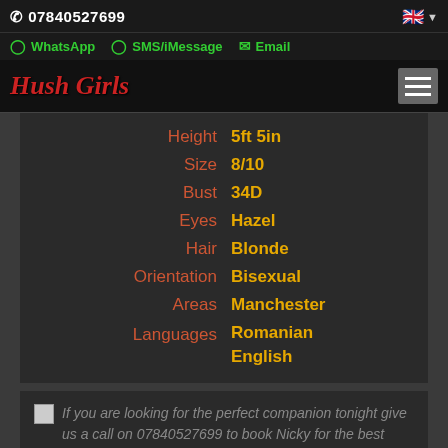07840527699
WhatsApp  SMS/iMessage  Email
Hush Girls
| Attribute | Value |
| --- | --- |
| Height | 5ft 5in |
| Size | 8/10 |
| Bust | 34D |
| Eyes | Hazel |
| Hair | Blonde |
| Orientation | Bisexual |
| Areas | Manchester |
| Languages | Romanian
English |
If you are looking for the perfect companion tonight give us a call on 07840527699 to book Nicky for the best night of your life.